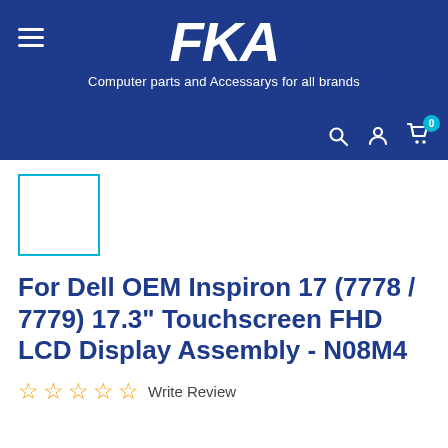[Figure (logo): FKA logo — white bold italic text on dark blue background, with hamburger menu icon on left, tagline below, and search/account/cart icons on right]
[Figure (other): Product image thumbnail placeholder — white square with teal/cyan border]
For Dell OEM Inspiron 17 (7778 / 7779) 17.3" Touchscreen FHD LCD Display Assembly - N08M4
☆ ☆ ☆ ☆ ☆ Write Review